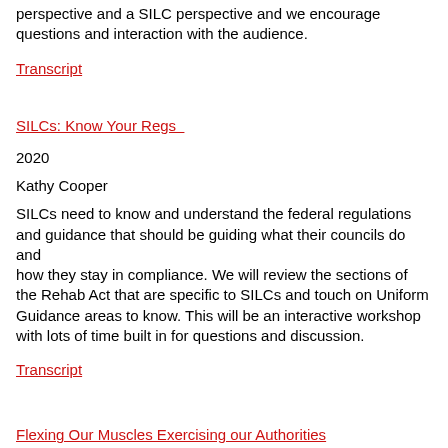perspective and a SILC perspective and we encourage questions and interaction with the audience.
Transcript
SILCs: Know Your Regs
2020
Kathy Cooper
SILCs need to know and understand the federal regulations and guidance that should be guiding what their councils do and how they stay in compliance. We will review the sections of the Rehab Act that are specific to SILCs and touch on Uniform Guidance areas to know. This will be an interactive workshop with lots of time built in for questions and discussion.
Transcript
Flexing Our Muscles Exercising our Authorities